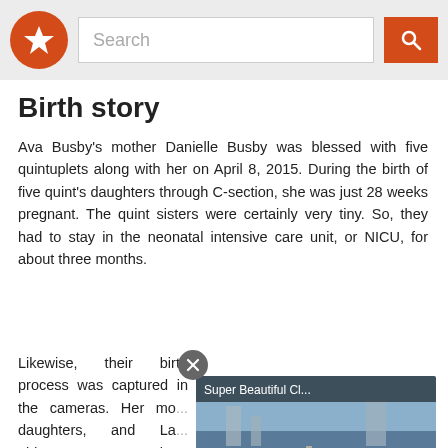Search
Birth story
Ava Busby's mother Danielle Busby was blessed with five quintuplets along with her on April 8, 2015. During the birth of five quint's daughters through C-section, she was just 28 weeks pregnant. The quint sisters were certainly very tiny. So, they had to stay in the neonatal intensive care unit, or NICU, for about three months.
Likewise, their birth process was captured in the cameras. Her mo[...] daughters, and La[...] eldest one to be[...] website.
[Figure (screenshot): Video overlay showing a road/bridge scene with title 'Super Beautiful Cl...' and a play button]
According to It's a[...] was born with a weight of 2 pounds, 6 ounces